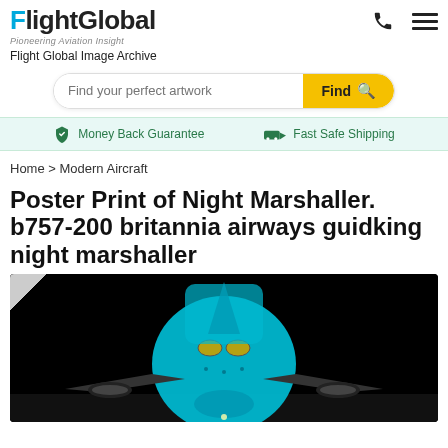FlightGlobal – Pioneering Aviation Insight – Flight Global Image Archive
Find your perfect artwork
Money Back Guarantee   Fast Safe Shipping
Home > Modern Aircraft
Poster Print of Night Marshaller. b757-200 britannia airways guidking night marshaller
[Figure (photo): Night photograph of a Boeing 757-200 Britannia Airways aircraft seen head-on on the tarmac with a marshaller guiding it, set against a black night sky background]